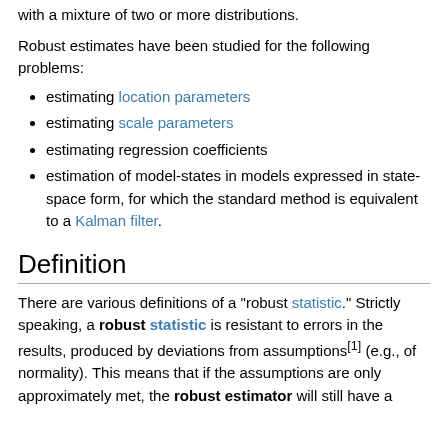with a mixture of two or more distributions.
Robust estimates have been studied for the following problems:
estimating location parameters
estimating scale parameters
estimating regression coefficients
estimation of model-states in models expressed in state-space form, for which the standard method is equivalent to a Kalman filter.
Definition
There are various definitions of a "robust statistic." Strictly speaking, a robust statistic is resistant to errors in the results, produced by deviations from assumptions[1] (e.g., of normality). This means that if the assumptions are only approximately met, the robust estimator will still have a reasonable efficiency, and give reasonable results.